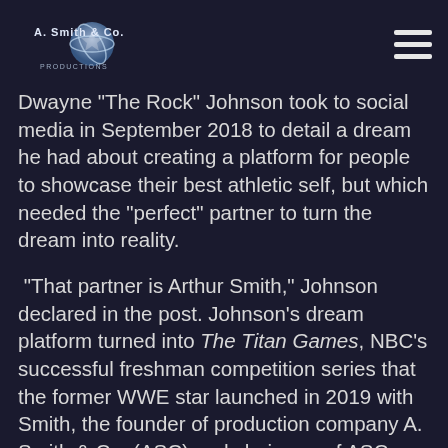A. Smith & Co. Productions [logo] [hamburger menu]
Dwayne "The Rock" Johnson took to social media in September 2018 to detail a dream he had about creating a platform for people to showcase their best athletic self, but which needed the "perfect" partner to turn the dream into reality.
"That partner is Arthur Smith," Johnson declared in the post. Johnson's dream platform turned into The Titan Games, NBC's successful freshman competition series that the former WWE star launched in 2019 with Smith, the founder of production company A. Smith & Co. (ASC) and chairman of ASC parent company Tinopolis USA.
Titan Games, in which everyday people compete in endurance-based mental and physical challenges, is one of more than 180 reality, unscripted and documentary series produced under the tutelage of Smith and his ASC banner since the company launched 20 years ago.